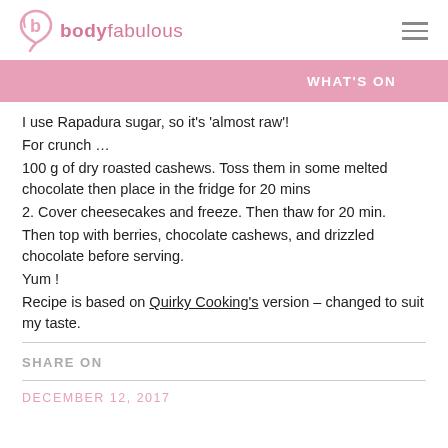bodyfabulous
WHAT'S ON
I use Rapadura sugar, so it's 'almost raw'!
For crunch …
100 g of dry roasted cashews. Toss them in some melted chocolate then place in the fridge for 20 mins
2. Cover cheesecakes and freeze. Then thaw for 20 min.
Then top with berries, chocolate cashews, and drizzled chocolate before serving.
Yum !
Recipe is based on Quirky Cooking's version – changed to suit my taste.
SHARE ON
DECEMBER 12, 2017